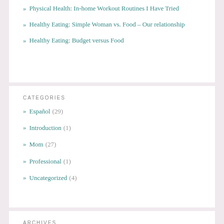Physical Health: In-home Workout Routines I Have Tried
Healthy Eating: Simple Woman vs. Food – Our relationship
Healthy Eating: Budget versus Food
CATEGORIES
Español (29)
Introduction (1)
Mom (27)
Professional (1)
Uncategorized (4)
ARCHIVES